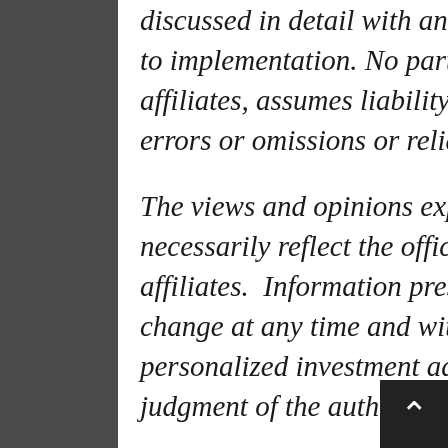discussed in detail with an advisor, accountant or legal counsel prior to implementation. No party, including but not limited to, FIA and its affiliates, assumes liability for any loss or damage resulting from errors or omissions or reliance on or use of this mateIARI.
The views and opinions expressed are those of the authors do not necessarily reflect the official policy or position of FIA or its affiliates.  Information presented is believed to be current, but may change at any time and without notice.  It should not be viewed as personalized investment advice. All expressions of opinion reflect the judgment of the authors on the date of publication and